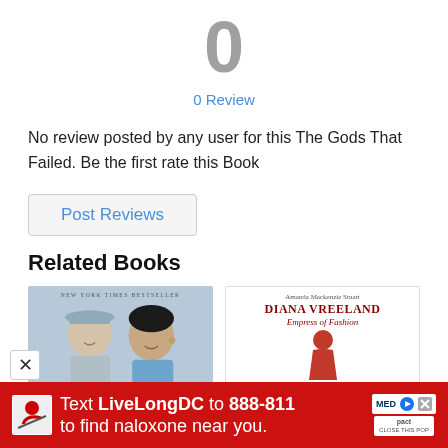0
0 Review
No review posted by any user for this The Gods That Failed. Be the first rate this Book
Post Reviews
Related Books
[Figure (photo): Book cover with two women on a blue background, with 'NEW YORK TIMES BESTSELLER' label]
[Figure (photo): Book cover: Diana Vreeland Empress of Fashion by Amanda Mackenzie Stuart, with a red figure illustration]
[Figure (photo): Advertisement banner: Text LiveLongDC to 888-811 to find naloxone near you, red background]